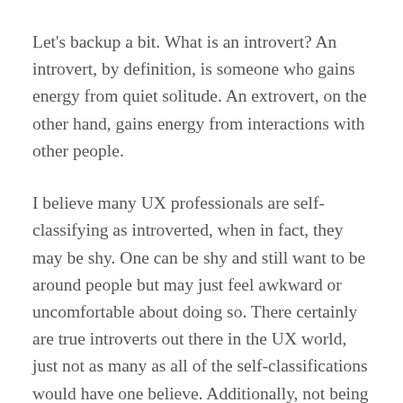Let's backup a bit. What is an introvert? An introvert, by definition, is someone who gains energy from quiet solitude. An extrovert, on the other hand, gains energy from interactions with other people.
I believe many UX professionals are self-classifying as introverted, when in fact, they may be shy. One can be shy and still want to be around people but may just feel awkward or uncomfortable about doing so. There certainly are true introverts out there in the UX world, just not as many as all of the self-classifications would have one believe. Additionally, not being introverted doesn't mean one is instead extroverted. In fact, Myers Briggs, which tends to push people into a series of binary classifications, allows for a score of zero, which means neither one